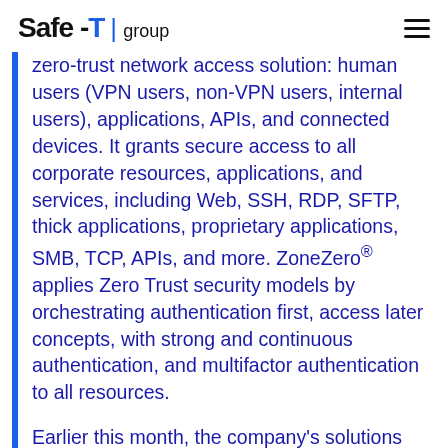Safe-T | group
zero-trust network access solution: human users (VPN users, non-VPN users, internal users), applications, APIs, and connected devices. It grants secure access to all corporate resources, applications, and services, including Web, SSH, RDP, SFTP, thick applications, proprietary applications, SMB, TCP, APIs, and more. ZoneZero® applies Zero Trust security models by orchestrating authentication first, access later concepts, with strong and continuous authentication, and multifactor authentication to all resources.
Earlier this month, the company's solutions were added as an approved vendor to NASA's solution for enterprise-wide